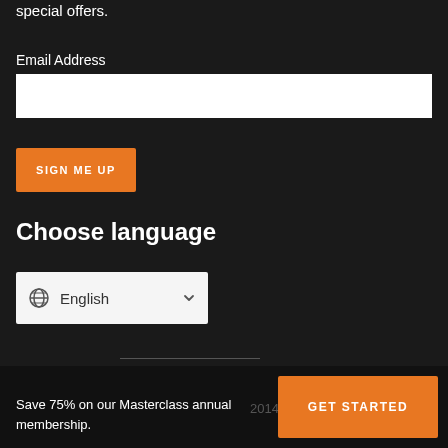special offers.
Email Address
[Figure (other): Empty white email input field]
SIGN ME UP
Choose language
[Figure (other): Language dropdown selector showing English with globe icon and chevron]
Save 75% on our Masterclass annual membership.
GET STARTED